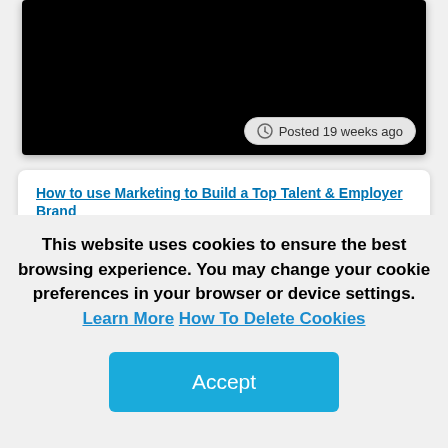[Figure (screenshot): Black video player block with a 'Posted 19 weeks ago' badge in the bottom-right corner]
Posted 19 weeks ago
How to use Marketing to Build a Top Talent & Employer Brand
Recruiters and Hiring Managers, which functions and roles are you hiring for?
You can see how people vote. Learn more
This website uses cookies to ensure the best browsing experience. You may change your cookie preferences in your browser or device settings. Learn More How To Delete Cookies
Accept